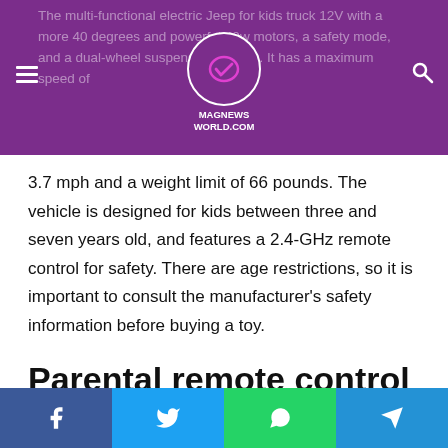MAGNEWS WORLD.COM
The multi-functional electric Jeep for kids truck 12V with a more 40 degrees and powerful 40w motors, a safety mode, and a dual-wheel suspension system. It has a maximum speed of 3.7 mph and a weight limit of 66 pounds. The vehicle is designed for kids between three and seven years old, and features a 2.4-GHz remote control for safety. There are age restrictions, so it is important to consult the manufacturer's safety information before buying a toy.
Parental remote control
This electric Jeep for kids truck 12V features a rechargeable battery and manual control. The Jeep can reach up to 3MPH and is an upgraded version of the classic 12V Jeep style. It has upgraded LED lights, a tuned body kid, non-slip tires, seat
Facebook Twitter WhatsApp Telegram share buttons